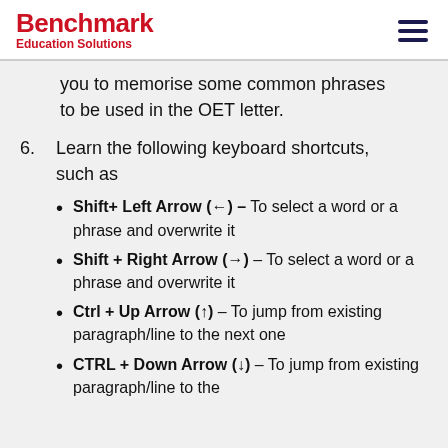Benchmark Education Solutions
you to memorise some common phrases to be used in the OET letter.
6. Learn the following keyboard shortcuts, such as
Shift+ Left Arrow (←) – To select a word or a phrase and overwrite it
Shift + Right Arrow (→) – To select a word or a phrase and overwrite it
Ctrl + Up Arrow (↑) – To jump from existing paragraph/line to the next one
CTRL + Down Arrow (↓) – To jump from existing paragraph/line to the